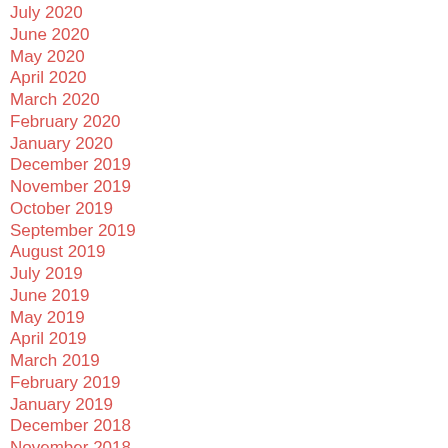July 2020
June 2020
May 2020
April 2020
March 2020
February 2020
January 2020
December 2019
November 2019
October 2019
September 2019
August 2019
July 2019
June 2019
May 2019
April 2019
March 2019
February 2019
January 2019
December 2018
November 2018
October 2018